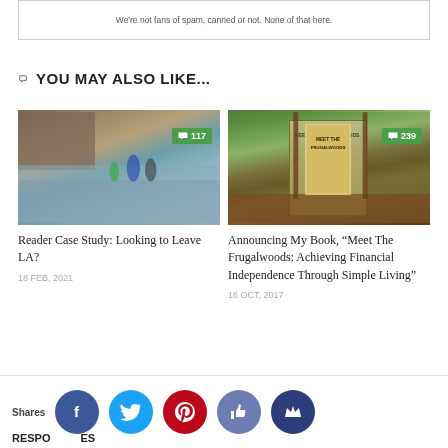We're not fans of spam, canned or not. None of that here.
👍 YOU MAY ALSO LIKE...
[Figure (photo): Photo of hikers wading through a rocky river canyon, with a comment badge showing 117 comments]
Reader Case Study: Looking to Leave LA?
18 FEB, 2021
[Figure (photo): Photo of the book 'Meet The Frugalwoods' on a windowsill with trees in background, with a comment badge showing 239 comments]
Announcing My Book, “Meet The Frugalwoods: Achieving Financial Independence Through Simple Living”
16 OCT, 2017
Shares
RESPONSES